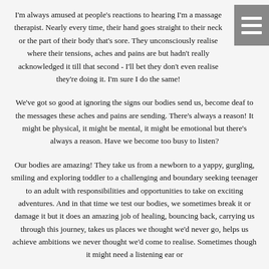I'm always amused at people's reactions to hearing I'm a massage therapist. Nearly every time, their hand goes straight to their neck or the part of their body that's sore. They unconsciously realise where their tensions, aches and pains are but hadn't really acknowledged it till that second - I'll bet they don't even realise they're doing it. I'm sure I do the same!
We've got so good at ignoring the signs our bodies send us, become deaf to the messages these aches and pains are sending. There's always a reason! It might be physical, it might be mental, it might be emotional but there's always a reason. Have we become too busy to listen?
Our bodies are amazing! They take us from a newborn to a yappy, gurgling, smiling and exploring toddler to a challenging and boundary seeking teenager to an adult with responsibilities and opportunities to take on exciting adventures. And in that time we test our bodies, we sometimes break it or damage it but it does an amazing job of healing, bouncing back, carrying us through this journey, takes us places we thought we'd never go, helps us achieve ambitions we never thought we'd come to realise. Sometimes though it might need a listening ear or